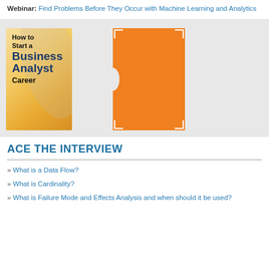Webinar: Find Problems Before They Occur with Machine Learning and Analytics
[Figure (illustration): Book cover: 'How to Start a Business Analyst Career' with orange/gold gradient background and dark blue text]
[Figure (illustration): Orange rectangle with white corner brackets and a white notch/cutout on the left side]
ACE THE INTERVIEW
» What is a Data Flow?
» What is Cardinality?
» What is Failure Mode and Effects Analysis and when should it be used?